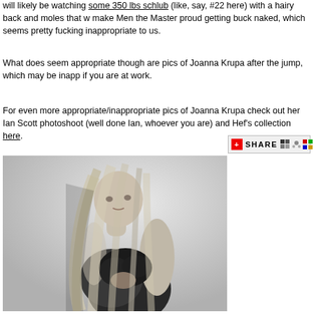will likely be watching some 350 lbs schlub (like, say, #22 here) with a hairy back and moles that w make Men the Master proud getting buck naked, which seems pretty fucking inappropriate to us.
What does seem appropriate though are pics of Joanna Krupa after the jump, which may be inapp if you are at work.
For even more appropriate/inappropriate pics of Joanna Krupa check out her Ian Scott photoshoot (well done Ian, whoever you are) and Hef's collection here.
[Figure (photo): Black and white photo of a blonde woman with long hair wearing a black bikini top, posed with her back slightly turned]
[Figure (screenshot): Share button widget with red plus icon and small social media icons]